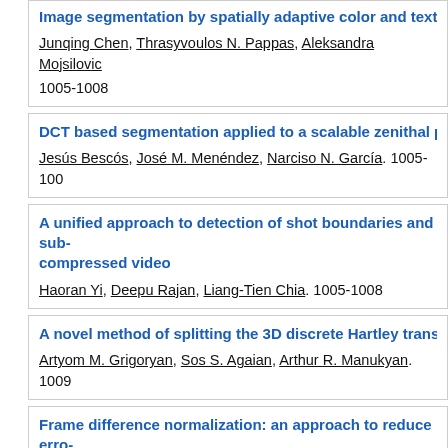Image segmentation by spatially adaptive color and texture (truncated). Junqing Chen, Thrasyvoulos N. Pappas, Aleksandra Mojsilovic. 1005-1008
DCT based segmentation applied to a scalable zenithal peo...
Jesús Bescós, José M. Menéndez, Narciso N. García. 1005-100
A unified approach to detection of shot boundaries and sub... compressed video
Haoran Yi, Deepu Rajan, Liang-Tien Chia. 1005-1008
A novel method of splitting the 3D discrete Hartley transfo...
Artyom M. Grigoryan, Sos S. Agaian, Arthur R. Manukyan. 1009
Frame difference normalization: an approach to reduce erro... detection algorithms for MPEG videos
Ralph Ewerth, Bernd Freisleben. 1009-1012
Self-induced color correction for skin tracking under varyin...